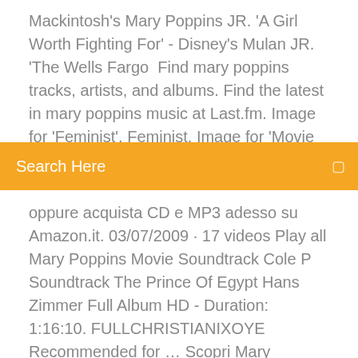Mackintosh's Mary Poppins JR. 'A Girl Worth Fighting For' - Disney's Mulan JR. 'The Wells Fargo  Find mary poppins tracks, artists, and albums. Find the latest in mary poppins music at Last.fm. Image for 'Feminist'. Feminist. Image for 'Movie soundtrack'.
[Figure (other): Orange search bar with 'Search Here' placeholder text and a search icon on the right]
oppure acquista CD e MP3 adesso su Amazon.it. 03/07/2009 · 17 videos Play all Mary Poppins Movie Soundtrack Cole P Soundtrack The Prince Of Egypt Hans Zimmer Full Album HD - Duration: 1:16:10. FULLCHRISTIANIXOYE Recommended for … Scopri Mary Poppins Returns (Original Motion Picture Soundtrack) di Various artists su Amazon Music. Ascolta senza pubblicità oppure acquista CD e MP3 adesso su Amazon.it. 23/03/2019 · Mary Poppins Returns Soundtrack! Wondermittens; 14 videos; 1,157,596 views; Last updated on Mar 23, 2019; Play all Share. Introducing Mary Poppins (From